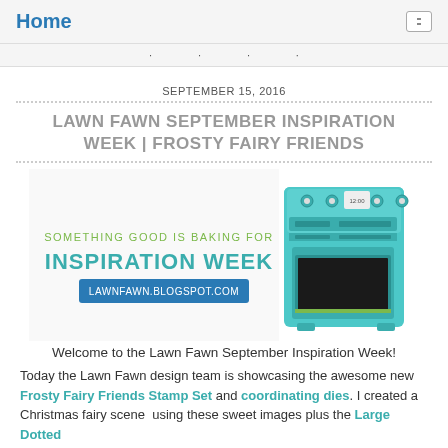Home
navigation links
SEPTEMBER 15, 2016
LAWN FAWN SEPTEMBER INSPIRATION WEEK | FROSTY FAIRY FRIENDS
[Figure (illustration): Lawn Fawn Inspiration Week banner showing a teal/turquoise retro oven and text: SOMETHING GOOD IS BAKING FOR INSPIRATION WEEK, lawnfawn.blogspot.com]
Welcome to the Lawn Fawn September Inspiration Week!
Today the Lawn Fawn design team is showcasing the awesome new Frosty Fairy Friends Stamp Set and coordinating dies. I created a Christmas fairy scene  using these sweet images plus the Large Dotted Rectangle Dies and the Small and Large Dotted Circle Dies. By layering the rectangle/circle die cut panels and tucking greenery around